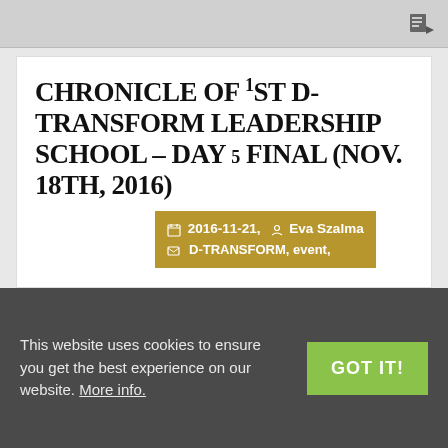CHRONICLE OF 1ST D-TRANSFORM LEADERSHIP SCHOOL – DAY 5 FINAL (NOV. 18TH, 2016)
2016-11-21,   Eva Szalma   D-TRANSFORM, event,
by Jean-François Colas, UOC Doctoral School Pillars, bricks and coins in the spotlight of a ludic and particularly dynamic last Working Session on 'Strategies for HE in the national context' led by Susanna
This website uses cookies to ensure you get the best experience on our website. More info.